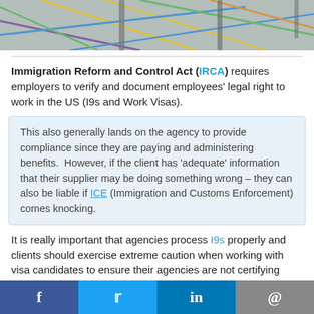[Figure (photo): Partial view of colorful geometric shapes/tape art on a floor, showing chair legs]
Immigration Reform and Control Act (IRCA) requires employers to verify and document employees' legal right to work in the US (I9s and Work Visas).
This also generally lands on the agency to provide compliance since they are paying and administering benefits.  However, if the client has 'adequate' information that their supplier may be doing something wrong – they can also be liable if ICE (Immigration and Customs Enforcement) comes knocking.
It is really important that agencies process I9s properly and clients should exercise extreme caution when working with visa candidates to ensure their agencies are not certifying contractor durations or work
f  Twitter  in  @